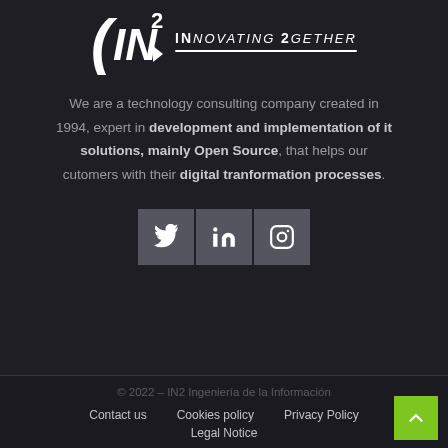[Figure (logo): IN2 logo with parenthesis, arrow symbol, superscript 2, and tagline 'INNOVATING 2GETHER' with underline]
We are a technology consulting company created in 1994, expert in development and implementation of it solutions, mainly Open Source, that helps our cutomers with their digital tranformation processes.
[Figure (infographic): Three social media icon buttons: Twitter, LinkedIn, Instagram]
© 2022 - IN2 Ingeniería de la Información
Contact us   Cookies policy   Privacy Policy   Legal Notice